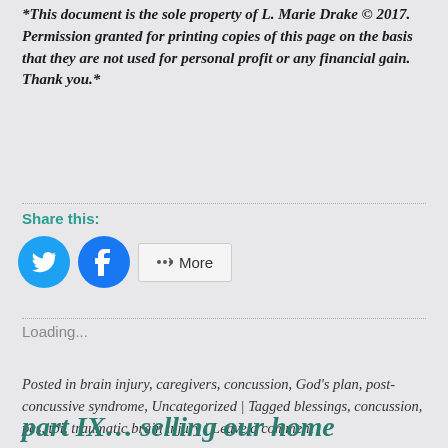*This document is the sole property of L. Marie Drake © 2017. Permission granted for printing copies of this page on the basis that they are not used for personal profit or any financial gain. Thank you.*
Share this:
[Figure (other): Twitter icon button (blue circle with white bird), Facebook icon button (blue circle with white f), and a More button with share icon]
Loading...
Posted in brain injury, caregivers, concussion, God's plan, post-concussive syndrome, Uncategorized | Tagged blessings, concussion, pcs, tbi, traumatic brain injury | Leave a comment |
part IX… selling our home